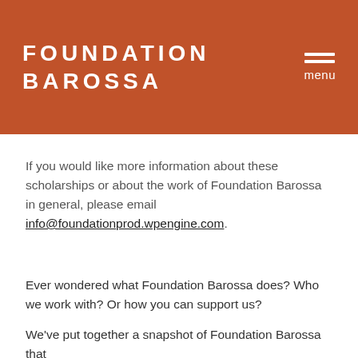FOUNDATION BAROSSA
If you would like more information about these scholarships or about the work of Foundation Barossa in general, please email info@foundationprod.wpengine.com.
Ever wondered what Foundation Barossa does? Who we work with? Or how you can support us?
We've put together a snapshot of Foundation Barossa that